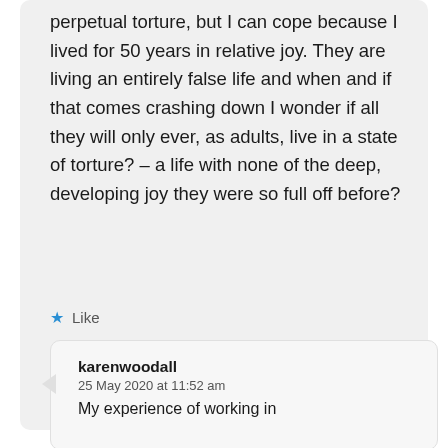perpetual torture, but I can cope because I lived for 50 years in relative joy. They are living an entirely false life and when and if that comes crashing down I wonder if all they will only ever, as adults, live in a state of torture? – a life with none of the deep, developing joy they were so full off before?
★ Like
Reply
karenwoodall
25 May 2020 at 11:52 am
My experience of working in...